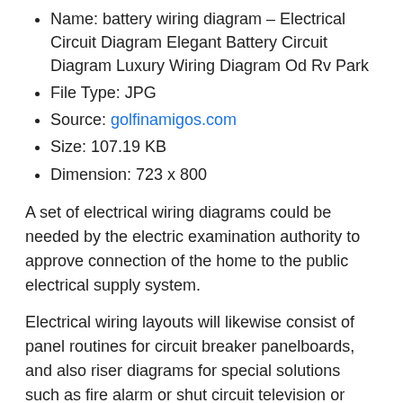Name: battery wiring diagram – Electrical Circuit Diagram Elegant Battery Circuit Diagram Luxury Wiring Diagram Od Rv Park
File Type: JPG
Source: golfinamigos.com
Size: 107.19 KB
Dimension: 723 x 800
A set of electrical wiring diagrams could be needed by the electric examination authority to approve connection of the home to the public electrical supply system.
Electrical wiring layouts will likewise consist of panel routines for circuit breaker panelboards, and also riser diagrams for special solutions such as fire alarm or shut circuit television or